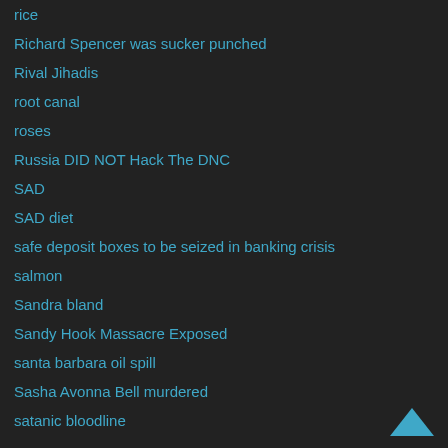rice
Richard Spencer was sucker punched
Rival Jihadis
root canal
roses
Russia DID NOT Hack The DNC
SAD
SAD diet
safe deposit boxes to be seized in banking crisis
salmon
Sandra bland
Sandy Hook Massacre Exposed
santa barbara oil spill
Sasha Avonna Bell murdered
satanic bloodline